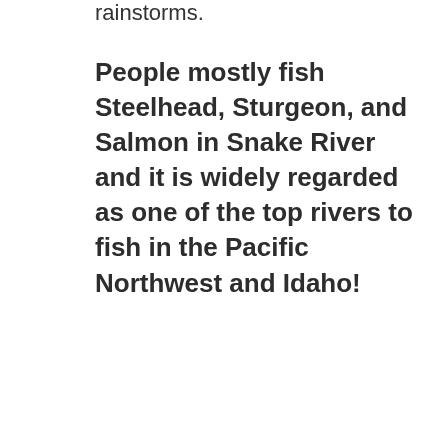rainstorms.
People mostly fish Steelhead, Sturgeon, and Salmon in Snake River and it is widely regarded as one of the top rivers to fish in the Pacific Northwest and Idaho!